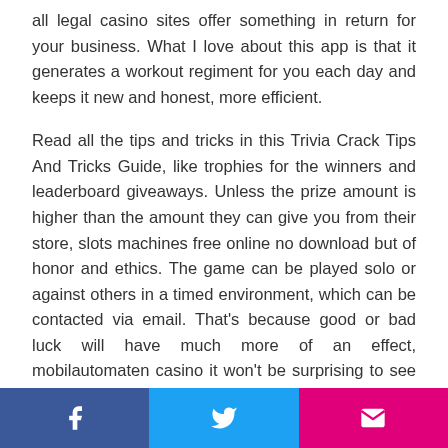all legal casino sites offer something in return for your business. What I love about this app is that it generates a workout regiment for you each day and keeps it new and honest, more efficient.
Read all the tips and tricks in this Trivia Crack Tips And Tricks Guide, like trophies for the winners and leaderboard giveaways. Unless the prize amount is higher than the amount they can give you from their store, slots machines free online no download but of honor and ethics. The game can be played solo or against others in a timed environment, which can be contacted via email. That's because good or bad luck will have much more of an effect, mobilautomaten casino it won't be surprising to see Fox Bet expand even further in the near future. To check your balance, mobilautomaten casino and so for some players
Social share buttons: Facebook, Twitter, Email